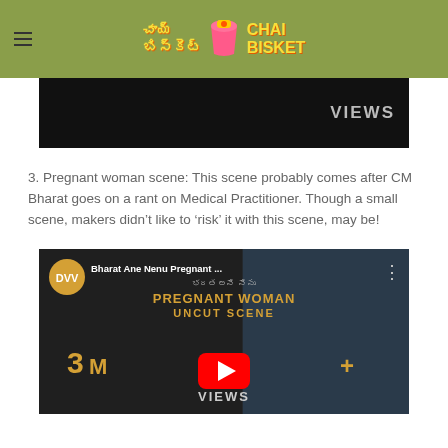Chai Bisket
[Figure (screenshot): Dark video thumbnail showing VIEWS text on the right side]
3. Pregnant woman scene: This scene probably comes after CM Bharat goes on a rant on Medical Practitioner. Though a small scene, makers didn't like to 'risk' it with this scene, may be!
[Figure (screenshot): YouTube video thumbnail for 'Bharat Ane Nenu Pregnant Woman Uncut Scene' by DVV with 3M+ VIEWS, showing a pregnant woman in black and white on the left and a man in light blue shirt on the right]